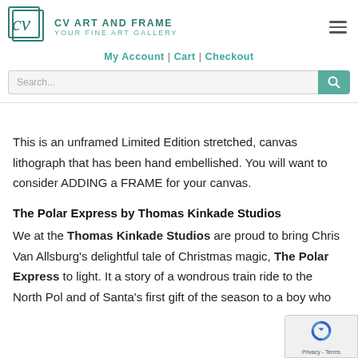CV Art and Frame — Your Fine Art Gallery
My Account | Cart | Checkout
This is an unframed Limited Edition stretched, canvas lithograph that has been hand embellished. You will want to consider ADDING a FRAME for your canvas.
The Polar Express by Thomas Kinkade Studios
We at the Thomas Kinkade Studios are proud to bring Chris Van Allsburg's delightful tale of Christmas magic, The Polar Express to light. It a story of a wondrous train ride to the North Pol and of Santa's first gift of the season to a boy who